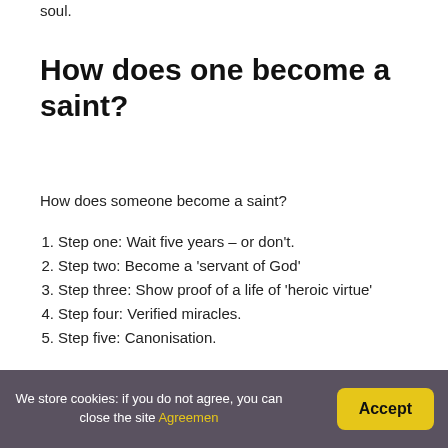soul.
How does one become a saint?
How does someone become a saint?
Step one: Wait five years – or don't.
Step two: Become a 'servant of God'
Step three: Show proof of a life of 'heroic virtue'
Step four: Verified miracles.
Step five: Canonisation.
Who is the patron saint of
We store cookies: if you do not agree, you can close the site Agreemen